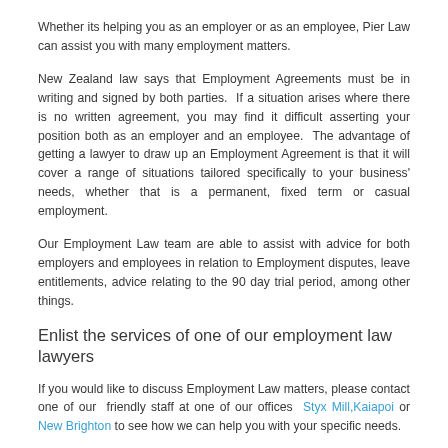Whether its helping you as an employer or as an employee, Pier Law can assist you with many employment matters.
New Zealand law says that Employment Agreements must be in writing and signed by both parties.  If a situation arises where there is no written agreement, you may find it difficult asserting your position both as an employer and an employee.  The advantage of getting a lawyer to draw up an Employment Agreement is that it will cover a range of situations tailored specifically to your business' needs, whether that is a permanent, fixed term or casual employment.
Our Employment Law team are able to assist with advice for both employers and employees in relation to Employment disputes, leave entitlements, advice relating to the 90 day trial period, among other things.
Enlist the services of one of our employment law lawyers
If you would like to discuss Employment Law matters, please contact one of our  friendly staff at one of our offices  Styx Mill,Kaiapoi or New Brighton to see how we can help you with your specific needs.